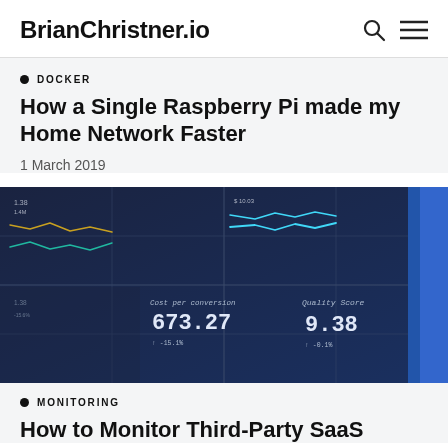BrianChristner.io
DOCKER
How a Single Raspberry Pi made my Home Network Faster
1 March 2019
[Figure (photo): Dark dashboard screenshot showing multiple metric panels with line charts, conversion cost value 673.27, and Quality Score 9.38 with -0.1% change indicator]
MONITORING
How to Monitor Third-Party SaaS